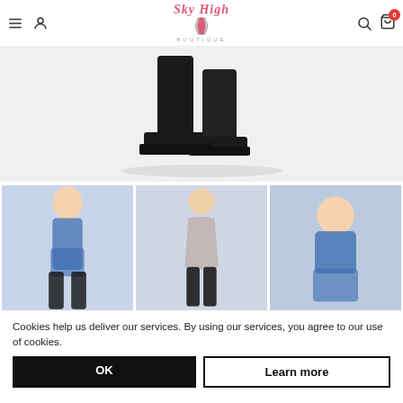Sky High Boutique — navigation header with menu, user, search, cart icons
[Figure (photo): Product image showing black platform high heel shoes/boots on white background, cropped view showing the lower portion]
[Figure (photo): Three thumbnail photos of a woman wearing a blue lace lingerie set with garter belt and black stockings — front view, back view, and close-up front view]
Cookies help us deliver our services. By using our services, you agree to our use of cookies.
OK
Learn more